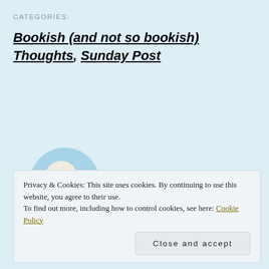CATEGORIES:
Bookish (and not so bookish) Thoughts, Sunday Post
[Figure (photo): Circular avatar photo showing a person wearing a large white sun hat against a light blue background]
Privacy & Cookies: This site uses cookies. By continuing to use this website, you agree to their use.
To find out more, including how to control cookies, see here: Cookie Policy
Close and accept